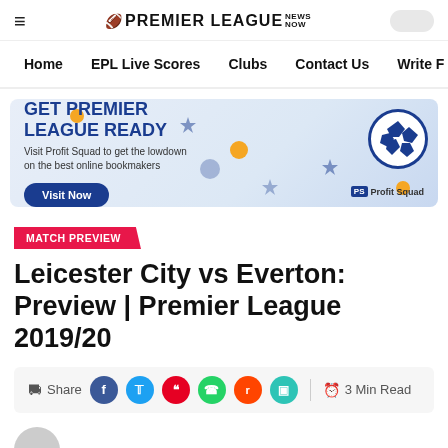PREMIER LEAGUE NEWS NOW
Home  EPL Live Scores  Clubs  Contact Us  Write F
[Figure (infographic): Advertisement banner for Profit Squad: GET PREMIER LEAGUE READY. Visit Profit Squad to get the lowdown on the best online bookmakers. Visit Now button. Blue and white illustration with football and robot figure.]
MATCH PREVIEW
Leicester City vs Everton: Preview | Premier League 2019/20
Share  3 Min Read